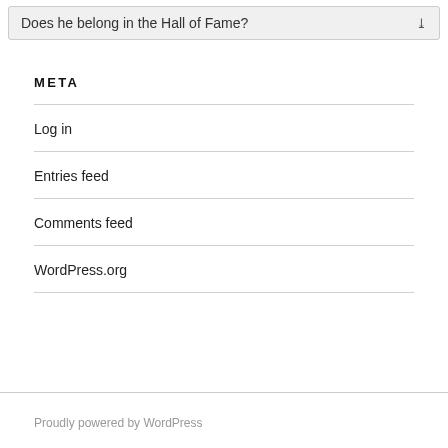Does he belong in the Hall of Fame?
META
Log in
Entries feed
Comments feed
WordPress.org
Proudly powered by WordPress